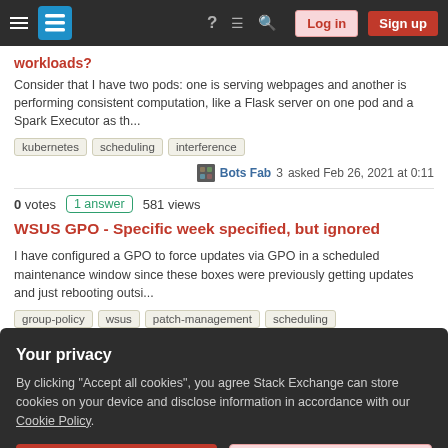Stack Exchange navigation bar with hamburger menu, logo, help, chat, search icons, Log in and Sign up buttons
workloads?
Consider that I have two pods: one is serving webpages and another is performing consistent computation, like a Flask server on one pod and a Spark Executor as th...
kubernetes
scheduling
interference
Bots Fab 3 asked Feb 26, 2021 at 0:11
0 votes  1 answer  581 views
WSUS GPO - Specific week specified, but ignored
I have configured a GPO to force updates via GPO in a scheduled maintenance window since these boxes were previously getting updates and just rebooting outsi...
group-policy
wsus
patch-management
scheduling
Your privacy
By clicking "Accept all cookies", you agree Stack Exchange can store cookies on your device and disclose information in accordance with our Cookie Policy.
Accept all cookies
Customize settings